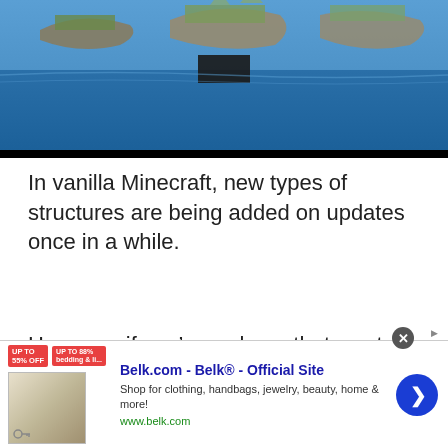[Figure (screenshot): Minecraft game screenshot showing a reflected world view with blue water, floating islands and terrain visible upside-down above]
In vanilla Minecraft, new types of structures are being added on updates once in a while.
However, if you're a player that wants structures to constantly appear in your worlds, one of the best options is the Ruins Mod.
[Figure (screenshot): Belk.com advertisement banner - Belk® Official Site, Shop for clothing, handbags, jewelry, beauty, home & more! www.belk.com]